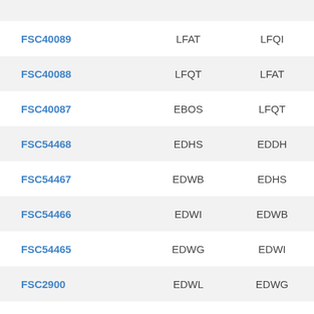| ID | From | To |
| --- | --- | --- |
| FSC40089 | LFAT | LFQI |
| FSC40088 | LFQT | LFAT |
| FSC40087 | EBOS | LFQT |
| FSC54468 | EDHS | EDDH |
| FSC54467 | EDWB | EDHS |
| FSC54466 | EDWI | EDWB |
| FSC54465 | EDWG | EDWI |
| FSC2900 | EDWL | EDWG |
| FSC54464 | EDXP | EDWI |